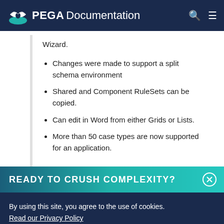PEGA Documentation
Wizard.
Changes were made to support a split schema environment
Shared and Component RuleSets can be copied.
Can edit in Word from either Grids or Lists.
More than 50 case types are now supported for an application.
READY TO CRUSH COMPLEXITY?
By using this site, you agree to the use of cookies. Read our Privacy Policy
Accept and continue   About cookies